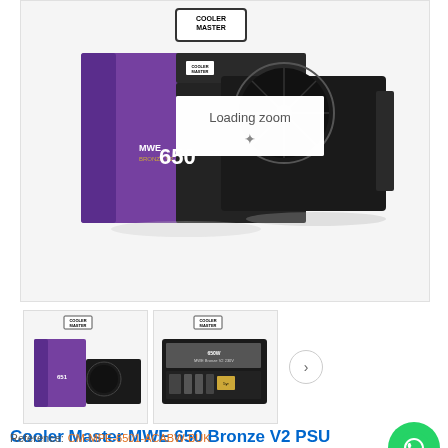[Figure (photo): Cooler Master MWE 650 Bronze V2 power supply unit shown with product box. Main large image with 'Loading zoom' overlay. Two smaller thumbnail images below - one showing front of box with PSU unit, one showing back label of PSU.]
Cooler Master MWE 650 Bronze V2 PSU Power Supply ( 650W, MPE-6501-ACABW-B )
Reference: CM-MPE-6501-ACABW-BUK